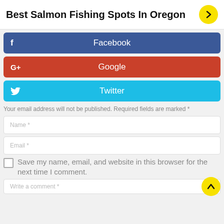Best Salmon Fishing Spots In Oregon
[Figure (infographic): Facebook share button (blue rounded rectangle with f icon and Facebook label)]
[Figure (infographic): Google+ share button (red rounded rectangle with G+ icon and Google label)]
[Figure (infographic): Twitter share button (cyan rounded rectangle with bird icon and Twitter label)]
Your email address will not be published. Required fields are marked *
Name *
Email *
Save my name, email, and website in this browser for the next time I comment.
Write a comment *